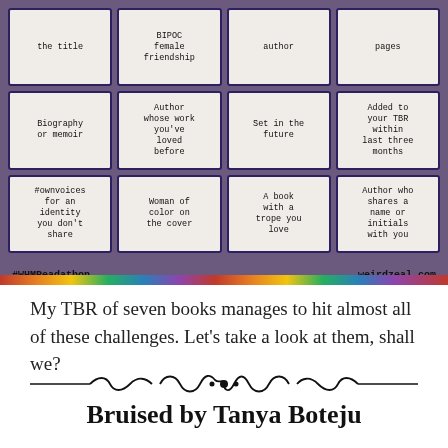[Figure (other): A bingo-style reading challenge card with a 4x3 grid of cells on a bookshelf background. Rows: Row 1: 'the title', 'BIPOC female friendship', 'author', 'pages'. Row 2: 'Biography or memoir', 'Author whose work you've loved before', 'Set in the future', 'Added to your TBR within last three months'. Row 3: '#ownvoices for an identity you don't share', 'Woman of color on the cover', 'A book with a trope you love', 'Author who shares a name or initials with you'. Bottom bar: '#WHMReadathon' and 'weirdzeal.com']
My TBR of seven books manages to hit almost all of these challenges. Let's take a look at them, shall we?
[Figure (illustration): Ornamental divider with scrollwork design]
Bruised by Tanya Boteju